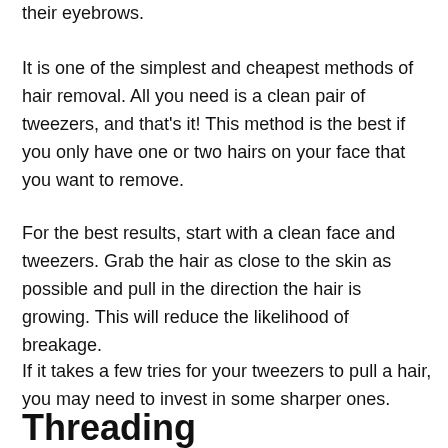their eyebrows.
It is one of the simplest and cheapest methods of hair removal. All you need is a clean pair of tweezers, and that's it! This method is the best if you only have one or two hairs on your face that you want to remove.
For the best results, start with a clean face and tweezers. Grab the hair as close to the skin as possible and pull in the direction the hair is growing. This will reduce the likelihood of breakage.
If it takes a few tries for your tweezers to pull a hair, you may need to invest in some sharper ones.
Threading